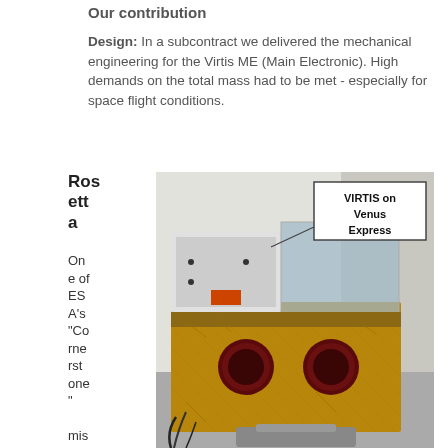Our contribution
Design: In a subcontract we delivered the mechanical engineering for the Virtis ME (Main Electronic). High demands on the total mass had to be met - especially for space flight conditions.
Rosetta
One of ESA's "Cornerstone" missions for this
[Figure (photo): Photograph of the VIRTIS instrument on Venus Express, showing a gold-foil wrapped scientific instrument with two circular apertures, annotated with a label 'VIRTIS on Venus Express'.]